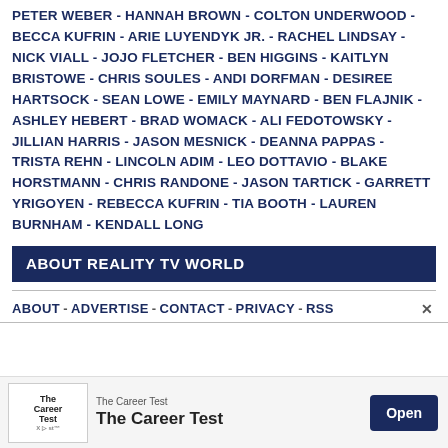PETER WEBER - HANNAH BROWN - COLTON UNDERWOOD - BECCA KUFRIN - ARIE LUYENDYK JR. - RACHEL LINDSAY - NICK VIALL - JOJO FLETCHER - BEN HIGGINS - KAITLYN BRISTOWE - CHRIS SOULES - ANDI DORFMAN - DESIREE HARTSOCK - SEAN LOWE - EMILY MAYNARD - BEN FLAJNIK - ASHLEY HEBERT - BRAD WOMACK - ALI FEDOTOWSKY - JILLIAN HARRIS - JASON MESNICK - DEANNA PAPPAS - TRISTA REHN - LINCOLN ADIM - LEO DOTTAVIO - BLAKE HORSTMANN - CHRIS RANDONE - JASON TARTICK - GARRETT YRIGOYEN - REBECCA KUFRIN - TIA BOOTH - LAUREN BURNHAM - KENDALL LONG
ABOUT REALITY TV WORLD
ABOUT - ADVERTISE - CONTACT - PRIVACY - RSS
[Figure (other): Advertisement banner for The Career Test with logo, text, and Open button]